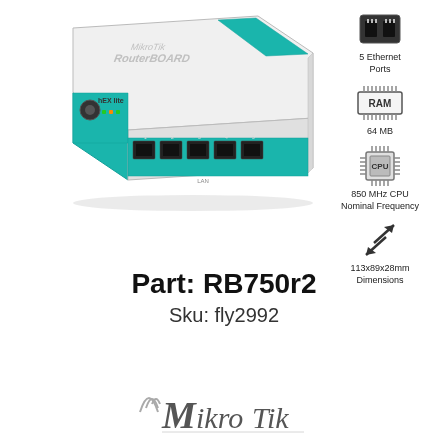[Figure (photo): MikroTik hEX lite RouterBOARD RB750r2 router with 5 Ethernet ports, white and teal colored enclosure, shown at an angle with visible front ports and top label]
[Figure (infographic): Spec icons sidebar showing: 5 Ethernet Ports (ethernet port icon), 64 MB RAM (RAM chip icon), 850 MHz CPU Nominal Frequency (CPU chip icon), 113x89x28mm Dimensions (resize arrows icon)]
Part: RB750r2
Sku: fly2992
[Figure (logo): MikroTik logo with stylized wave/signal marks and company name in italic font]